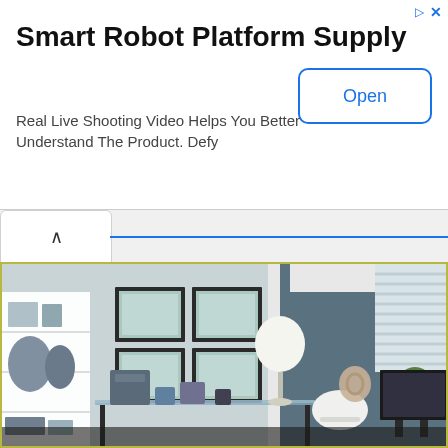Smart Robot Platform Supply
Real Live Shooting Video Helps You Better Understand The Product. Defy
[Figure (screenshot): Advertisement banner with Open button and ad indicator icons]
[Figure (photo): Interior home office photo showing a room with light gray walls, dark teal accent wall, white shelving unit on the left with decorative items, four framed art prints arranged in a grid on the wall, a glass-top desk with office supplies, a white lamp, a white chair, and a window with blinds on the right side]